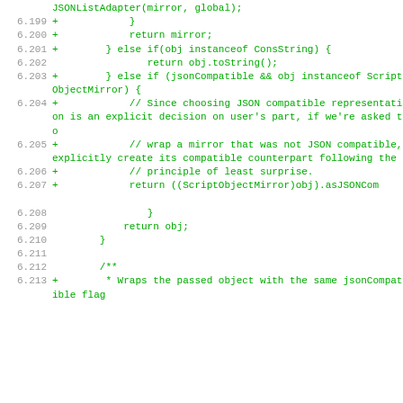[Figure (screenshot): Code diff snippet showing lines 6.199–6.213 of a Java source file with additions (+) in green monospace font on a white background. Line numbers are shown in grey on the left.]